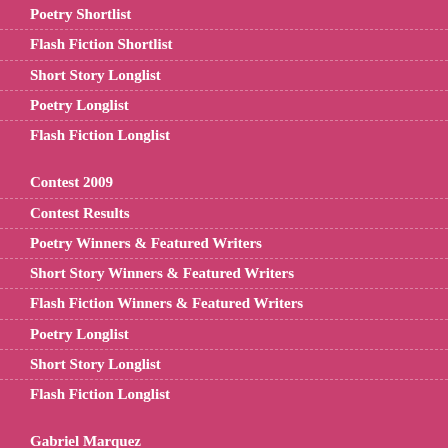Poetry Shortlist
Flash Fiction Shortlist
Short Story Longlist
Poetry Longlist
Flash Fiction Longlist
Contest 2009
Contest Results
Poetry Winners & Featured Writers
Short Story Winners & Featured Writers
Flash Fiction Winners & Featured Writers
Poetry Longlist
Short Story Longlist
Flash Fiction Longlist
Gabriel Marquez